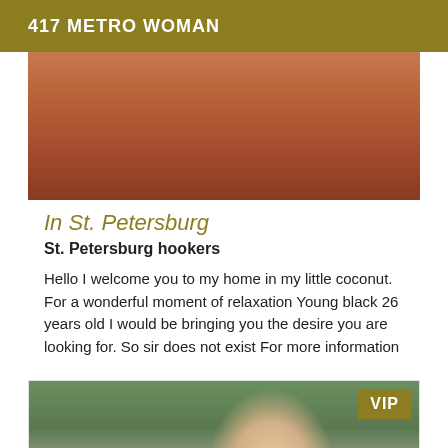417 METRO WOMAN
[Figure (photo): Close-up photo of a person's skin/body, warm brown tones]
In St. Petersburg
St. Petersburg hookers
Hello I welcome you to my home in my little coconut. For a wonderful moment of relaxation Young black 26 years old I would be bringing you the desire you are looking for. So sir does not exist For more information
[Figure (photo): Photo of a young person's face, with green graffiti wall visible on left side reading 'CRIMES'. VIP badge in upper right corner.]